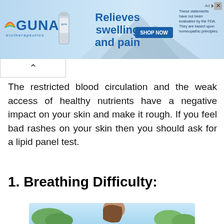[Figure (infographic): Advertisement banner for GUNA biotherapeutics showing logo, product bottle, 'Relieves swelling and pain' text, SHOP NOW button, and FDA disclaimer text]
The restricted blood circulation and the weak access of healthy nutrients have a negative impact on your skin and make it rough. If you feel bad rashes on your skin then you should ask for a lipid panel test.
1. Breathing Difficulty:
[Figure (illustration): Illustration of a person with breathing difficulty, shown in profile with trees and sky in the background]